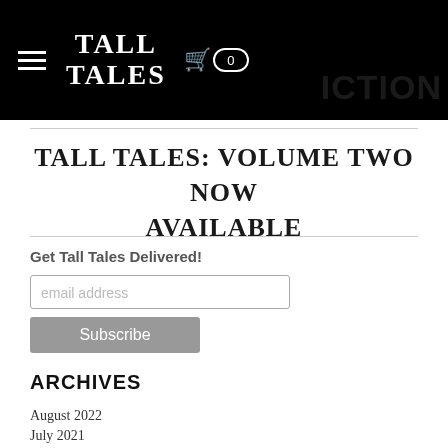TALL TALES  0  ICTION
TALL TALES: VOLUME TWO NOW AVAILABLE
Get Tall Tales Delivered!
ARCHIVES
August 2022
July 2021